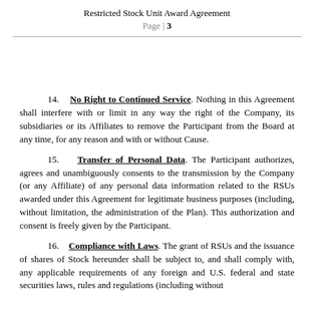Restricted Stock Unit Award Agreement
Page | 3
14. No Right to Continued Service. Nothing in this Agreement shall interfere with or limit in any way the right of the Company, its subsidiaries or its Affiliates to remove the Participant from the Board at any time, for any reason and with or without Cause.
15. Transfer of Personal Data. The Participant authorizes, agrees and unambiguously consents to the transmission by the Company (or any Affiliate) of any personal data information related to the RSUs awarded under this Agreement for legitimate business purposes (including, without limitation, the administration of the Plan). This authorization and consent is freely given by the Participant.
16. Compliance with Laws. The grant of RSUs and the issuance of shares of Stock hereunder shall be subject to, and shall comply with, any applicable requirements of any foreign and U.S. federal and state securities laws, rules and regulations (including without